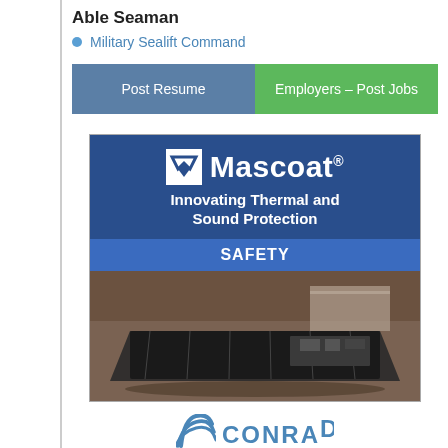Able Seaman
Military Sealift Command
[Figure (infographic): Two-button bar: 'Post Resume' (blue-grey background) and 'Employers – Post Jobs' (green background)]
[Figure (infographic): Mascoat advertisement. Logo with white checkmark-square icon and brand name 'Mascoat®'. Tagline: 'Innovating Thermal and Sound Protection'. Blue bar with 'SAFETY' text. Photo of industrial barge from aerial view.]
[Figure (logo): Conrad company logo with blue arc/wave and 'CONRAD' text in blue, partially visible at bottom]